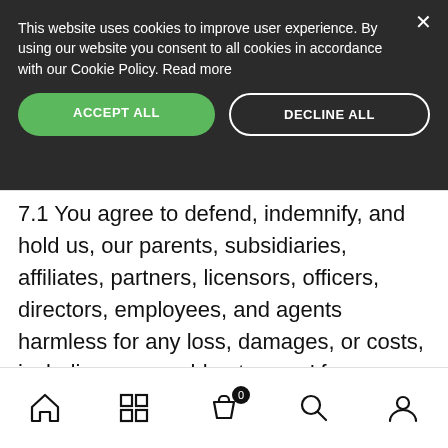This website uses cookies to improve user experience. By using our website you consent to all cookies in accordance with our Cookie Policy. Read more
ACCEPT ALL
DECLINE ALL
7.1 You agree to defend, indemnify, and hold us, our parents, subsidiaries, affiliates, partners, licensors, officers, directors, employees, and agents harmless for any loss, damages, or costs, including reasonable atorneys' fees, resulting from any third-party claim, action, or demand resulting from your participation in the Program in violation of any law, rule, regulation or these Terms.
[Figure (other): Bottom navigation bar with icons: home, grid/categories, shopping bag with badge showing 0, search, and user/account]